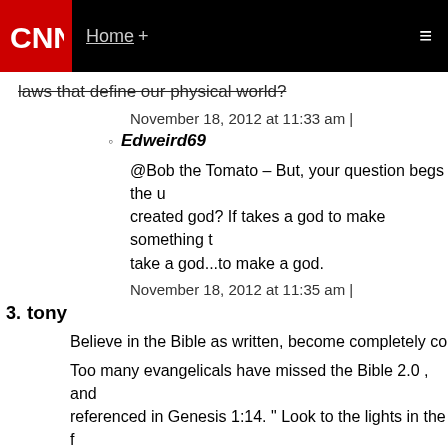CNN | Home +
laws that define our physical world?
November 18, 2012 at 11:33 am |
Edweird69 — @Bob the Tomato – But, your question begs the... created god? If takes a god to make something t... take a god...to make a god.
November 18, 2012 at 11:35 am |
3. tony — Believe in the Bible as written, become completely co... Too many evangelicals have missed the Bible 2.0 , an... referenced in Genesis 1:14. " Look to the lights in the ... way you know what the "up to date God" wants you to... astrophysicist for a record of the signs to date.
November 18, 2012 at 11:05 am |
Mike